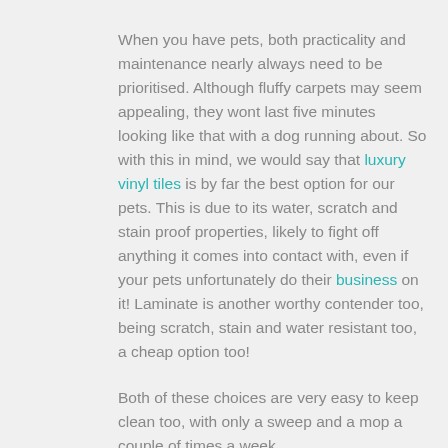When you have pets, both practicality and maintenance nearly always need to be prioritised. Although fluffy carpets may seem appealing, they wont last five minutes looking like that with a dog running about. So with this in mind, we would say that luxury vinyl tiles is by far the best option for our pets. This is due to its water, scratch and stain proof properties, likely to fight off anything it comes into contact with, even if your pets unfortunately do their business on it! Laminate is another worthy contender too, being scratch, stain and water resistant too, a cheap option too!
Both of these choices are very easy to keep clean too, with only a sweep and a mop a couple of times a week